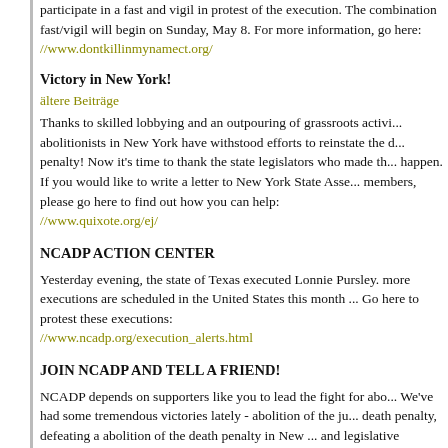participate in a fast and vigil in protest of the execution. The combination fast/vigil will begin on Sunday, May 8. For more information, go here: //www.dontkillinmynamect.org/
Victory in New York!
ältere Beiträge
Thanks to skilled lobbying and an outpouring of grassroots activ... abolitionists in New York have withstood efforts to reinstate the d... penalty! Now it's time to thank the state legislators who made th... happen. If you would like to write a letter to New York State Asse... members, please go here to find out how you can help: //www.quixote.org/ej/
NCADP ACTION CENTER
Yesterday evening, the state of Texas executed Lonnie Pursley. more executions are scheduled in the United States this month ... Go here to protest these executions: //www.ncadp.org/execution_alerts.html
JOIN NCADP AND TELL A FRIEND!
NCADP depends on supporters like you to lead the fight for abo... We've had some tremendous victories lately - abolition of the ju... death penalty, defeating a abolition of the death penalty in New ... and legislative advances in states as diverse as Montana, New ... Mexico, North Carolina and Connecticut. But it takes money to s... a movement! Won't you pitch in? If you believe that the death pe... violates the most basic principle of human rights, AND you belie... can win this struggle, please consider an online gift!